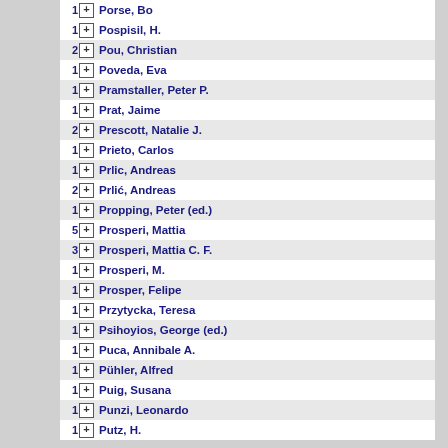1 Porse, Bo
1 Pospisil, H.
2 Pou, Christian
1 Poveda, Eva
1 Pramstaller, Peter P.
1 Prat, Jaime
2 Prescott, Natalie J.
1 Prieto, Carlos
1 Prlic, Andreas
2 Prlić, Andreas
1 Propping, Peter (ed.)
5 Prosperi, Mattia
3 Prosperi, Mattia C. F.
1 Prosperi, M.
1 Prospер, Felipe
1 Przytycka, Teresa
1 Psihoyios, George (ed.)
1 Puca, Annibale A.
1 Pühler, Alfred
1 Puig, Susana
1 Punzi, Leonardo
1 Putz, H.